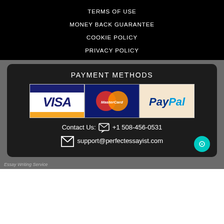TERMS OF USE
MONEY BACK GUARANTEE
COOKIE POLICY
PRIVACY POLICY
PAYMENT METHODS
[Figure (logo): Payment method logos: Visa, MasterCard, PayPal]
Contact Us: +1 508-456-0531
support@perfectessayist.com
Essay Writing Service